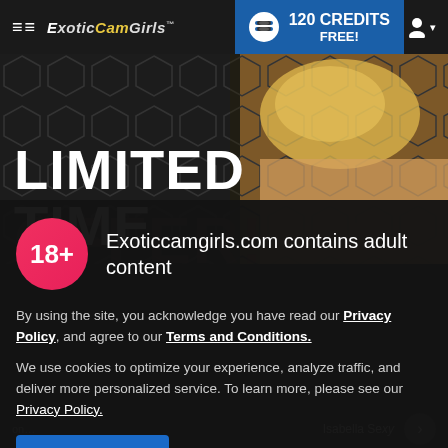≡≡ ExoticCamGirls™   120 CREDITS FREE!
[Figure (screenshot): Hero banner with hexagonal dark background pattern and partial image of woman in yellow bra, overlaid with large white text reading LIMITED TIME]
Exoticcamgirls.com contains adult content
By using the site, you acknowledge you have read our Privacy Policy, and agree to our Terms and Conditions.
We use cookies to optimize your experience, analyze traffic, and deliver more personalized service. To learn more, please see our Privacy Policy.
I AGREE